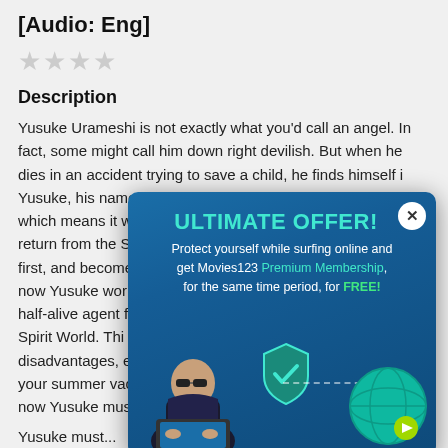[Audio: Eng]
★★★★ (star rating, empty/grey stars)
Description
Yusuke Urameshi is not exactly what you'd call an angel. In fact, some might call him down right devilish. But when he dies in an accident trying to save a child, he finds himself i[n...] Yusuke, his name [...] which means it w[...] return from the S[...] first, and become[...] now Yusuke wor[...] half-alive agent f[...] Spirit World. Thi[...] disadvantages, e[...] your summer vac[...] now Yusuke mus[...]
[Figure (screenshot): Popup advertisement overlay with teal/blue gradient background. Header reads 'ULTIMATE OFFER!' in teal bold text. Body text: 'Protect yourself while surfing online and get Movies123 Premium Membership, for the same time period, for FREE!' Illustrated hacker character with laptop on left, shield checkmark icon in center, globe icon on right. Close button (X) in top right corner.]